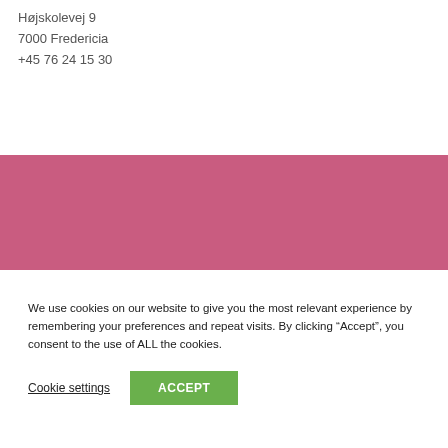Højskolevej 9
7000 Fredericia
+45 76 24 15 30
[Figure (other): Pink/rose colored rectangular banner bar]
We use cookies on our website to give you the most relevant experience by remembering your preferences and repeat visits. By clicking “Accept”, you consent to the use of ALL the cookies.
Cookie settings   ACCEPT